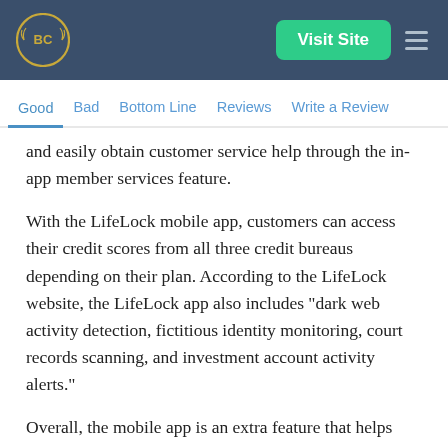BC | Visit Site
Good  Bad  Bottom Line  Reviews  Write a Review
and easily obtain customer service help through the in-app member services feature.
With the LifeLock mobile app, customers can access their credit scores from all three credit bureaus depending on their plan. According to the LifeLock website, the LifeLock app also includes "dark web activity detection, fictitious identity monitoring, court records scanning, and investment account activity alerts."
Overall, the mobile app is an extra feature that helps protect customers from identity theft and identity fraud.